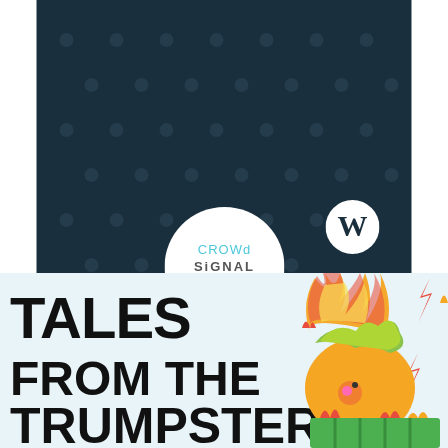[Figure (logo): Crowdsignal / WordPress advertisement banner with dark navy background, dot pattern, WordPress W logo, and Crowdsignal badge in white circle]
REPORT THIS AD
[Figure (illustration): Tales from the Trumpster cartoon illustration with bold text and cartoon character with flames]